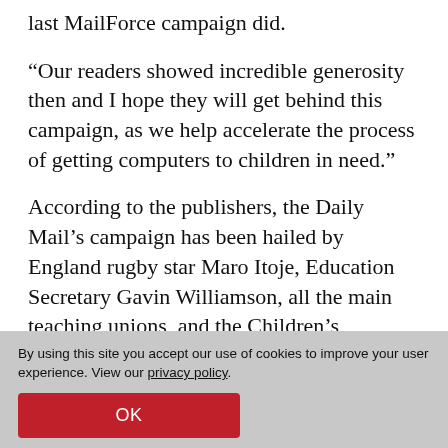last MailForce campaign did.
“Our readers showed incredible generosity then and I hope they will get behind this campaign, as we help accelerate the process of getting computers to children in need.”
According to the publishers, the Daily Mail’s campaign has been hailed by England rugby star Maro Itoje, Education Secretary Gavin Williamson, all the main teaching unions, and the Children’s Commissioner for England Anne Longfield.
By using this site you accept our use of cookies to improve your user experience. View our privacy policy.